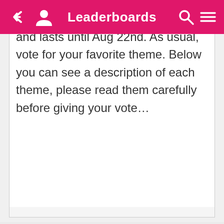Leaderboards
September PBFC theme starts now and lasts until Aug 22nd. As usual, vote for your favorite theme. Below you can see a description of each theme, please read them carefully before giving your vote…
Ximbo.land uses cookies to provide an optimal experience. By continuing to browse you consent to our cookies.
OK
Learn More